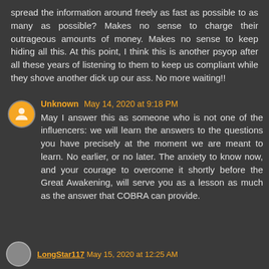spread the information around freely as fast as possible to as many as possible? Makes no sense to charge their outrageous amounts of money. Makes no sense to keep hiding all this. At this point, I think this is another psyop after all these years of listening to them to keep us compliant while they shove another dick up our ass. No more waiting!!
Unknown May 14, 2020 at 9:18 PM
May I answer this as someone who is not one of the influencers: we will learn the answers to the questions you have precisely at the moment we are meant to learn. No earlier, or no later. The anxiety to know now, and your courage to overcome it shortly before the Great Awakening, will serve you as a lesson as much as the answer that COBRA can provide.
LongStar117 May 15, 2020 at 12:25 AM